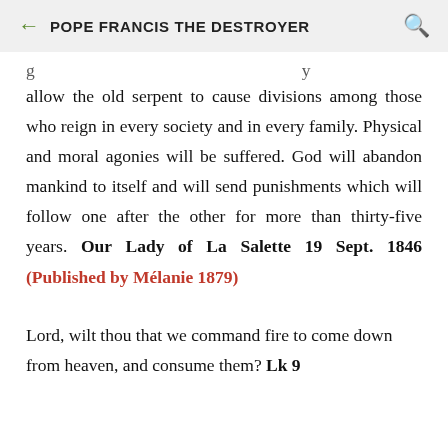POPE FRANCIS THE DESTROYER
allow the old serpent to cause divisions among those who reign in every society and in every family. Physical and moral agonies will be suffered. God will abandon mankind to itself and will send punishments which will follow one after the other for more than thirty-five years. Our Lady of La Salette 19 Sept. 1846 (Published by Mélanie 1879)
Lord, wilt thou that we command fire to come down from heaven, and consume them? Lk 9